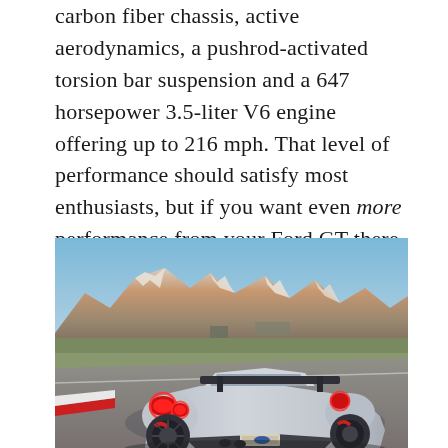carbon fiber chassis, active aerodynamics, a pushrod-activated torsion bar suspension and a 647 horsepower 3.5-liter V6 engine offering up to 216 mph. That level of performance should satisfy most enthusiasts, but if you want even more performance from your Ford GT there is a “high-performance” version of this hypercar: The new Ford GT Competition Series.
[Figure (photo): Rear three-quarter view of a silver Ford GT Competition Series on a race track with snow-capped mountains and blue sky in the background. The car features red-ringed taillights, a large rear wing, and dark wheels with red brake calipers.]